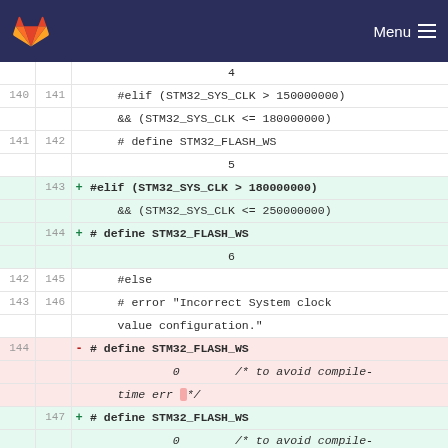GitLab Menu
[Figure (screenshot): Code diff view showing changes to STM32 flash wait states configuration in a C header file. Lines 140-149 shown with additions (green) for new elif clause handling STM32_SYS_CLK > 180000000 and removals (red) for old define with comment.]